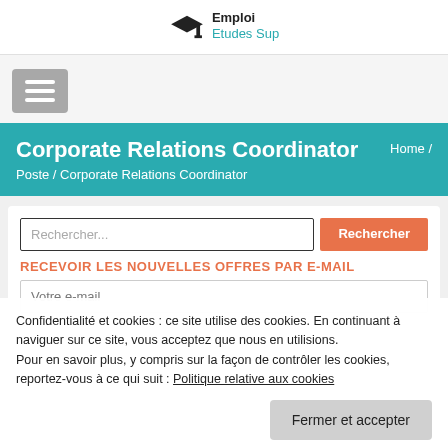Emploi Etudes Sup
[Figure (logo): Graduation cap logo with text 'Emploi' and 'Etudes Sup' in teal]
[Figure (infographic): Hamburger menu button (three horizontal lines) on gray background]
Corporate Relations Coordinator
Home / Poste / Corporate Relations Coordinator
Rechercher...
Rechercher
RECEVOIR LES NOUVELLES OFFRES PAR E-MAIL
Confidentialité et cookies : ce site utilise des cookies. En continuant à naviguer sur ce site, vous acceptez que nous en utilisions. Pour en savoir plus, y compris sur la façon de contrôler les cookies, reportez-vous à ce qui suit : Politique relative aux cookies
Fermer et accepter
Votre e-mail